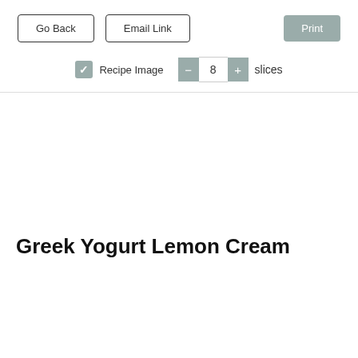[Figure (screenshot): UI toolbar with Go Back, Email Link, and Print buttons]
Recipe Image  −  8  +  slices
Greek Yogurt Lemon Cream